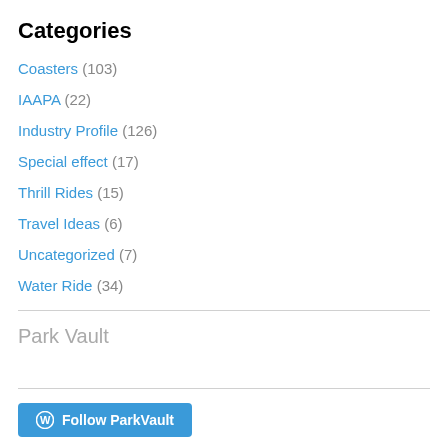Categories
Coasters (103)
IAAPA (22)
Industry Profile (126)
Special effect (17)
Thrill Rides (15)
Travel Ideas (6)
Uncategorized (7)
Water Ride (34)
Park Vault
Follow ParkVault